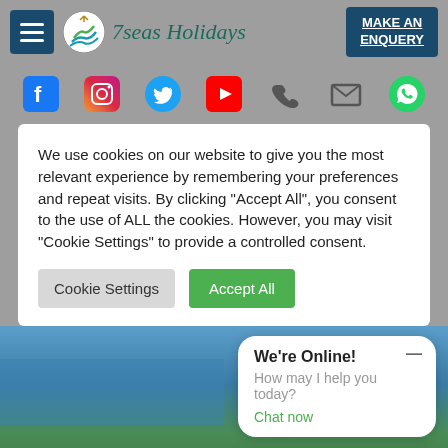[Figure (screenshot): 7seas Holidays website header with hamburger menu, logo, brand name, and Make An Enquiry button]
[Figure (screenshot): Social media icons row: Facebook, Instagram, Twitter, YouTube, Phone, Email, WhatsApp]
We use cookies on our website to give you the most relevant experience by remembering your preferences and repeat visits. By clicking "Accept All", you consent to the use of ALL the cookies. However, you may visit "Cookie Settings" to provide a controlled consent.
[Figure (screenshot): Cookie Settings and Accept All buttons]
[Figure (photo): Aerial photo of a waterfront/resort area with blue water and green trees]
We're Online! How may I help you today? Chat now